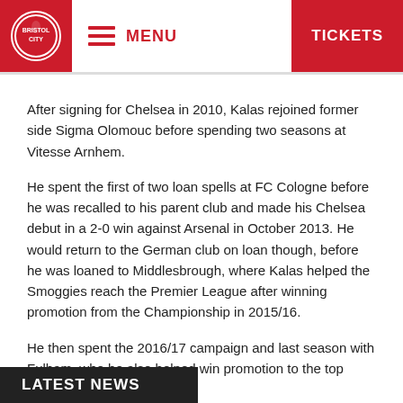MENU  TICKETS
After signing for Chelsea in 2010, Kalas rejoined former side Sigma Olomouc before spending two seasons at Vitesse Arnhem.
He spent the first of two loan spells at FC Cologne before he was recalled to his parent club and made his Chelsea debut in a 2-0 win against Arsenal in October 2013. He would return to the German club on loan though, before he was loaned to Middlesbrough, where Kalas helped the Smoggies reach the Premier League after winning promotion from the Championship in 2015/16.
He then spent the 2016/17 campaign and last season with Fulham, who he also helped win promotion to the top flight.
TAGS:  SIGNING
LATEST NEWS